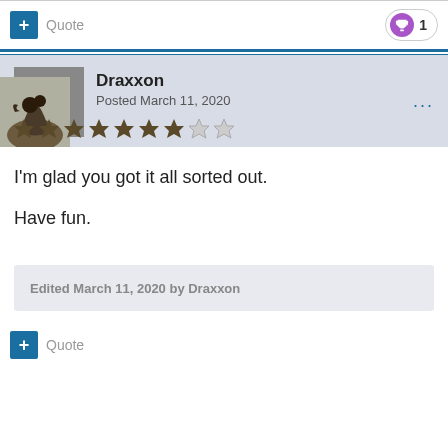Quote  1
Draxxon
Posted March 11, 2020
I'm glad you got it all sorted out.

Have fun.
Edited March 11, 2020 by Draxxon
Quote